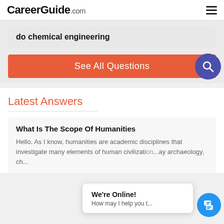CareerGuide.com
do chemical engineering
See All Questions
Latest Answers
What Is The Scope Of Humanities
Hello. As I know, humanities are academic disciplines that investigate many elements of human civilization...ay archaeology, ch...
We're Online! How may I help you t...